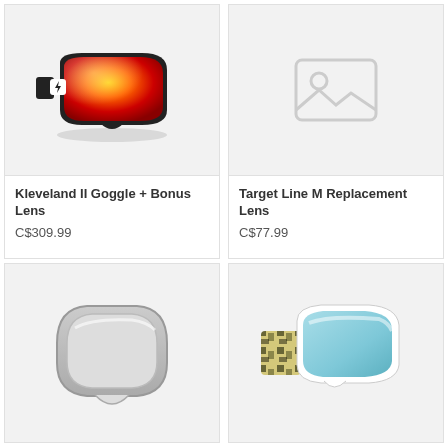[Figure (photo): Red/orange mirrored ski goggle with black frame and lightning bolt logo (Kleveland II Goggle)]
Kleveland II Goggle + Bonus Lens
C$309.99
[Figure (photo): Placeholder image icon (no image available) for Target Line M Replacement Lens]
Target Line M Replacement Lens
C$77.99
[Figure (photo): Clear/grey replacement goggle lens, shield shape]
[Figure (photo): Ski goggle with patterned strap and light blue/teal lens]